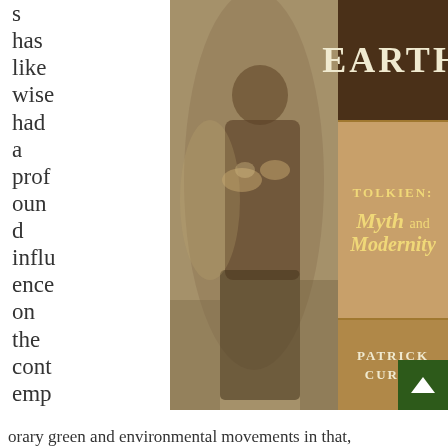rings has likewise had a profound influence on the contemporary green and environmental movements in that,
[Figure (photo): Book cover of 'Tolkien: Myth and Modernity' by Patrick Curry. The cover shows a black-and-white sepia-toned photograph of a person (presumably Tolkien) alongside the title text on a brown and tan background. The title 'EARTH' appears at the top in a dark brown bar, followed by 'TOLKIEN: Myth and Modernity' in gold/yellow text on a tan background, and 'PATRICK CURRY' at the bottom in a darker tan bar.]